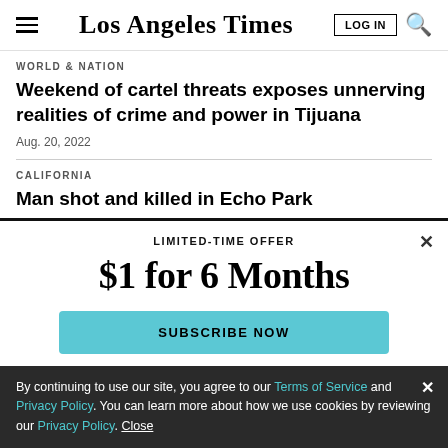Los Angeles Times
WORLD & NATION
Weekend of cartel threats exposes unnerving realities of crime and power in Tijuana
Aug. 20, 2022
CALIFORNIA
Man shot and killed in Echo Park
LIMITED-TIME OFFER
$1 for 6 Months
SUBSCRIBE NOW
By continuing to use our site, you agree to our Terms of Service and Privacy Policy. You can learn more about how we use cookies by reviewing our Privacy Policy. Close